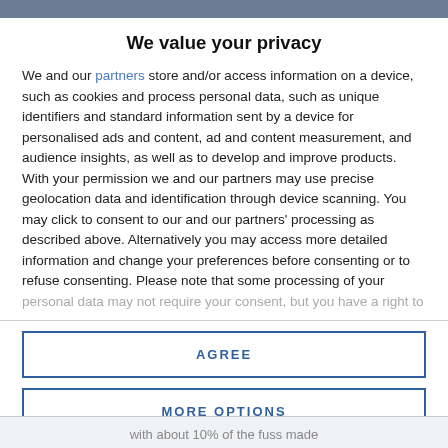We value your privacy
We and our partners store and/or access information on a device, such as cookies and process personal data, such as unique identifiers and standard information sent by a device for personalised ads and content, ad and content measurement, and audience insights, as well as to develop and improve products. With your permission we and our partners may use precise geolocation data and identification through device scanning. You may click to consent to our and our partners' processing as described above. Alternatively you may access more detailed information and change your preferences before consenting or to refuse consenting. Please note that some processing of your personal data may not require your consent, but you have a right to
AGREE
MORE OPTIONS
with about 10% of the fuss made